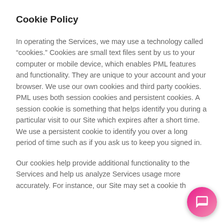Cookie Policy
In operating the Services, we may use a technology called “cookies.” Cookies are small text files sent by us to your computer or mobile device, which enables PML features and functionality. They are unique to your account and your browser. We use our own cookies and third party cookies. PML uses both session cookies and persistent cookies. A session cookie is something that helps identify you during a particular visit to our Site which expires after a short time. We use a persistent cookie to identify you over a long period of time such as if you ask us to keep you signed in.
Our cookies help provide additional functionality to the Services and help us analyze Services usage more accurately. For instance, our Site may set a cookie th…
[Figure (other): Pink gradient chat bubble icon in bottom-right corner of the page]